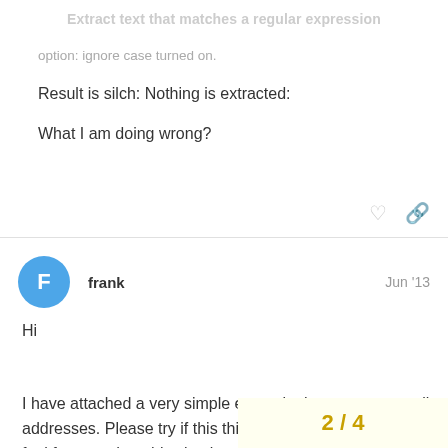Extract text that matches a regular expression
option: ignore case turned on.
Result is silch: Nothing is extracted:
What I am doing wrong?
frank Jun '13
Hi
I have attached a very simple example that extracts email addresses. Please try if this this for your use cases or feel free to adapt this simple example.
2 / 4